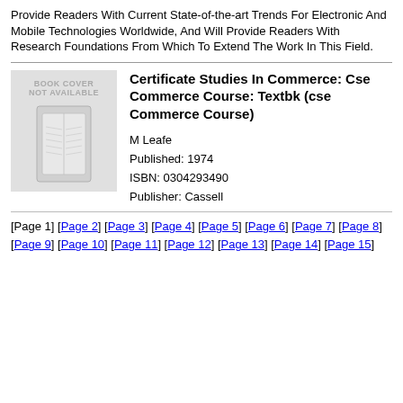Provide Readers With Current State-of-the-art Trends For Electronic And Mobile Technologies Worldwide, And Will Provide Readers With Research Foundations From Which To Extend The Work In This Field.
[Figure (illustration): Book cover placeholder image showing 'BOOK COVER NOT AVAILABLE' text with a generic book icon on a gray background]
Certificate Studies In Commerce: Cse Commerce Course: Textbk (cse Commerce Course)
M Leafe
Published: 1974
ISBN: 0304293490
Publisher: Cassell
[Page 1] [Page 2] [Page 3] [Page 4] [Page 5] [Page 6] [Page 7] [Page 8] [Page 9] [Page 10] [Page 11] [Page 12] [Page 13] [Page 14] [Page 15]